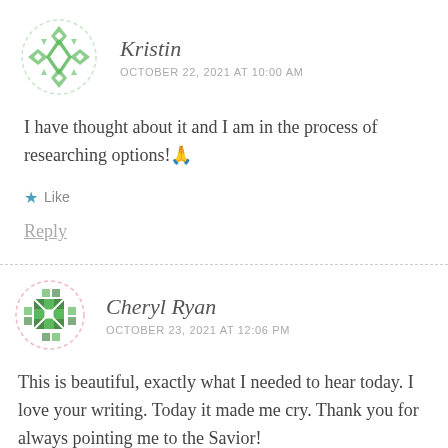[Figure (illustration): Circular avatar with green diamond/flower pattern on white background, dashed border]
Kristin
OCTOBER 22, 2021 AT 10:00 AM
I have thought about it and I am in the process of researching options!🙏
Like
Reply
[Figure (illustration): Circular avatar with green geometric/quilted pattern on white background, dashed pink/light border]
Cheryl Ryan
OCTOBER 23, 2021 AT 12:06 PM
This is beautiful, exactly what I needed to hear today. I love your writing. Today it made me cry. Thank you for always pointing me to the Savior!